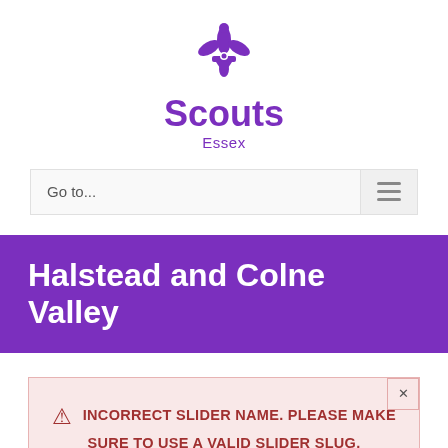[Figure (logo): Scouts fleur-de-lis purple logo with 'Scouts' bold text and 'Essex' subtitle in purple]
Go to...
Halstead and Colne Valley
⚠ INCORRECT SLIDER NAME. PLEASE MAKE SURE TO USE A VALID SLIDER SLUG.